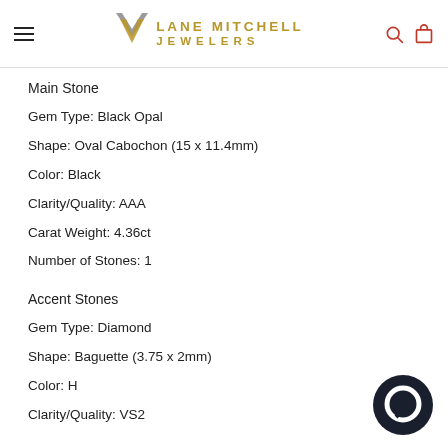Lane Mitchell Jewelers
Main Stone
Gem Type: Black Opal
Shape: Oval Cabochon (15 x 11.4mm)
Color: Black
Clarity/Quality: AAA
Carat Weight: 4.36ct
Number of Stones: 1
Accent Stones
Gem Type: Diamond
Shape: Baguette (3.75 x 2mm)
Color: H
Clarity/Quality: VS2
[Figure (other): Chat widget bubble icon in dark navy/black circle]